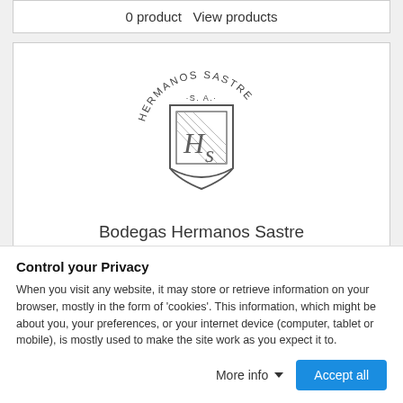0 product   View products
[Figure (logo): Hermanos Sastre S.A. winery logo — circular text reading HERMANOS SASTRE with S.A. below, surrounding a shield emblem with stylized HS initials and diagonal lines]
Bodegas Hermanos Sastre
Bodegas Hermanos Sastre was born in 1992, and initially owned 23 hectares of vineyards. It is located in the municipality of La...
Control your Privacy
When you visit any website, it may store or retrieve information on your browser, mostly in the form of 'cookies'. This information, which might be about you, your preferences, or your internet device (computer, tablet or mobile), is mostly used to make the site work as you expect it to.
More info   Accept all